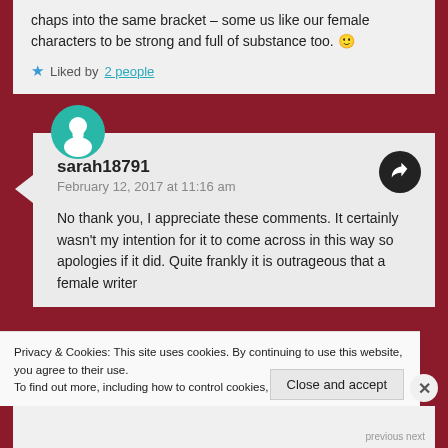chaps into the same bracket – some us like our female characters to be strong and full of substance too. 🙂
Liked by 2 people
sarah18791
February 12, 2017 at 11:16 am
No thank you, I appreciate these comments. It certainly wasn't my intention for it to come across in this way so apologies if it did. Quite frankly it is outrageous that a female writer
Privacy & Cookies: This site uses cookies. By continuing to use this website, you agree to their use.
To find out more, including how to control cookies, see here: Cookie Policy
Close and accept